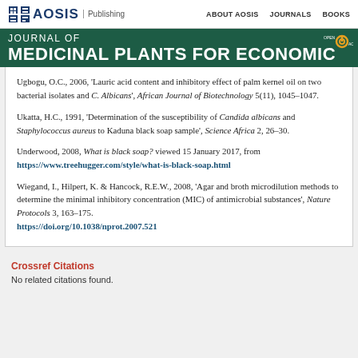AOSIS Publishing | ABOUT AOSIS | JOURNALS | BOOKS
JOURNAL OF MEDICINAL PLANTS FOR ECONOMIC
Ugbogu, O.C., 2006, 'Lauric acid content and inhibitory effect of palm kernel oil on two bacterial isolates and C. Albicans', African Journal of Biotechnology 5(11), 1045–1047.
Ukatta, H.C., 1991, 'Determination of the susceptibility of Candida albicans and Staphylococcus aureus to Kaduna black soap sample', Science Africa 2, 26–30.
Underwood, 2008, What is black soap? viewed 15 January 2017, from https://www.treehugger.com/style/what-is-black-soap.html
Wiegand, I., Hilpert, K. & Hancock, R.E.W., 2008, 'Agar and broth microdilution methods to determine the minimal inhibitory concentration (MIC) of antimicrobial substances', Nature Protocols 3, 163–175. https://doi.org/10.1038/nprot.2007.521
Crossref Citations
No related citations found.